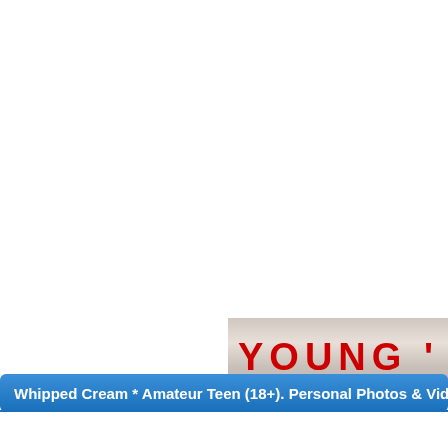[Figure (screenshot): Partial banner image with metallic/pink background showing text 'YOUNG' in bold red letters, cropped at right edge]
Whipped Cream * Amateur Teen (18+). Personal Photos & Vids